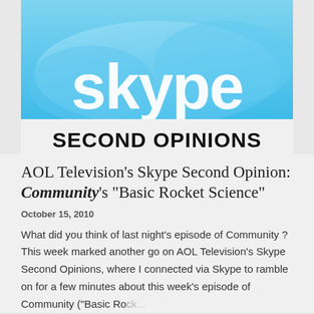[Figure (logo): Skype logo banner with light blue background and white 'skype' text, with 'SECOND OPINIONS' in large black bold uppercase text at the bottom]
AOL Television's Skype Second Opinion: Community's "Basic Rocket Science"
October 15, 2010
What did you think of last night's episode of Community ? This week marked another go on AOL Television's Skype Second Opinions, where I connected via Skype to ramble on for a few minutes about this week's episode of Community ("Basic Ro... ...